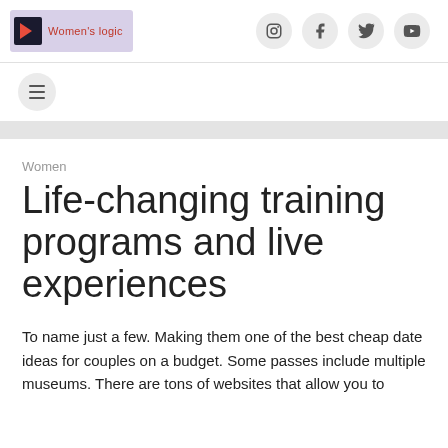Women's logic
Women
Life-changing training programs and live experiences
To name just a few. Making them one of the best cheap date ideas for couples on a budget. Some passes include multiple museums. There are tons of websites that allow you to